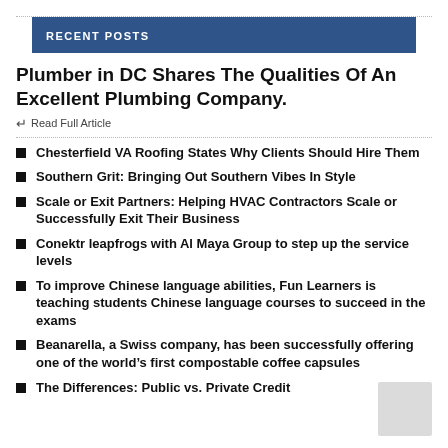RECENT POSTS
Plumber in DC Shares The Qualities Of An Excellent Plumbing Company.
Read Full Article
Chesterfield VA Roofing States Why Clients Should Hire Them
Southern Grit: Bringing Out Southern Vibes In Style
Scale or Exit Partners: Helping HVAC Contractors Scale or Successfully Exit Their Business
Conektr leapfrogs with Al Maya Group to step up the service levels
To improve Chinese language abilities, Fun Learners is teaching students Chinese language courses to succeed in the exams
Beanarella, a Swiss company, has been successfully offering one of the world’s first compostable coffee capsules
The Differences: Public vs. Private Credit